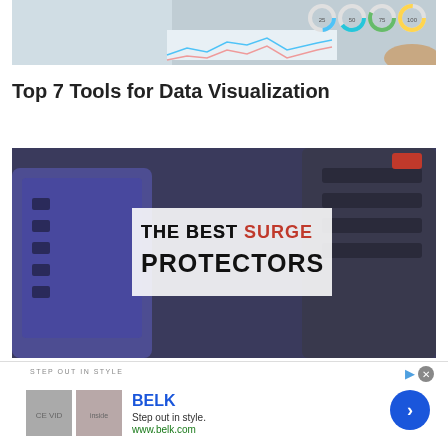[Figure (photo): A hand holding a tablet or paper showing donut/ring charts and a line chart with analytics dashboard]
Top 7 Tools for Data Visualization
[Figure (photo): Overhead photo of multiple surge protector power strips arranged on a wooden surface, with text overlay reading 'THE BEST SURGE PROTECTORS']
[Figure (other): Advertisement banner for BELK. Shows 'STEP OUT IN STYLE' label, BELK logo, two small product images, tagline 'Step out in style.' and URL www.belk.com, with a blue arrow CTA button]